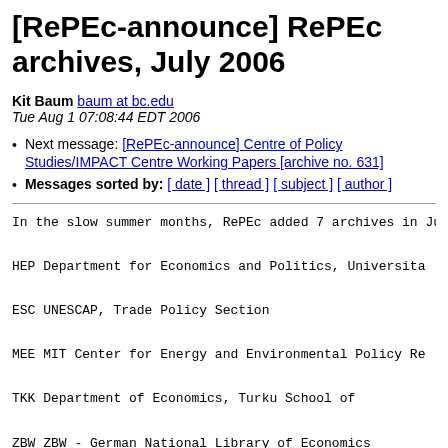[RePEc-announce] RePEc archives, July 2006
Kit Baum baum at bc.edu
Tue Aug 1 07:08:44 EDT 2006
Next message: [RePEc-announce] Centre of Policy Studies/IMPACT Centre Working Papers [archive no. 631]
Messages sorted by: [ date ] [ thread ] [ subject ] [ author ]
In the slow summer months, RePEc added 7 archives in July
HEP      Department for Economics and Politics, Universita
ESC      UNESCAP, Trade Policy Section
MEE      MIT Center for Energy and Environmental Policy Re
TKK               Department of Economics, Turku School of
ZBW      ZBW - German National Library of Economics
IRV               Department of Economics, University of Ca